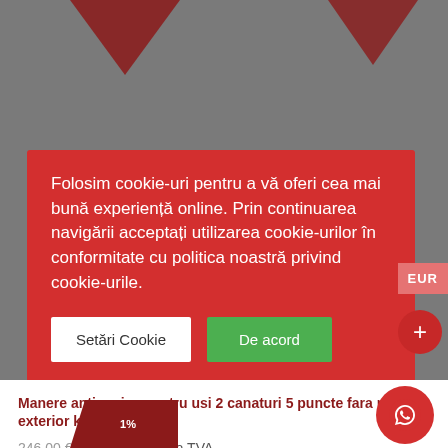[Figure (screenshot): Grey website background with dark red triangular decorative elements at top]
Folosim cookie-uri pentru a vă oferi cea mai bună experiență online. Prin continuarea navigării acceptați utilizarea cookie-urilor în conformitate cu politica noastră privind cookie-urile.
Setări Cookie
De acord
EUR
Manere antipanica pentru usi 2 canaturi 5 puncte fara maner exterior kit complet
246,00 € 220,00 € Fara TVA